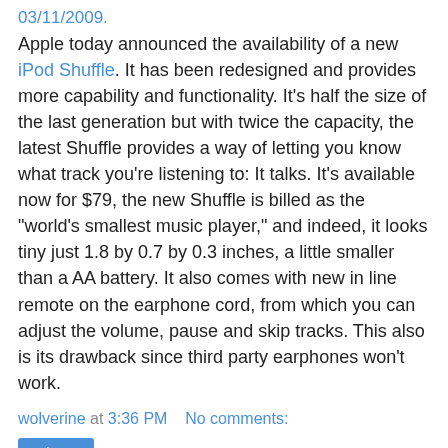03/11/2009. Apple today announced the availability of a new iPod Shuffle. It has been redesigned and provides more capability and functionality. It's half the size of the last generation but with twice the capacity, the latest Shuffle provides a way of letting you know what track you're listening to: It talks. It's available now for $79, the new Shuffle is billed as the "world's smallest music player," and indeed, it looks tiny just 1.8 by 0.7 by 0.3 inches, a little smaller than a AA battery. It also comes with new in line remote on the earphone cord, from which you can adjust the volume, pause and skip tracks. This also is its drawback since third party earphones won't work.
wolverine at 3:36 PM    No comments:
Share
Tuesday, March 10, 2009
Vacation: Times Square, New York City, NY